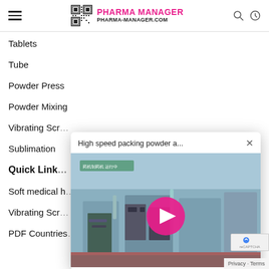PHARMA MANAGER | PHARMA-MANAGER.COM
Tablets
Tube
Powder Press
Powder Mixing
Vibrating Scr…
Sublimation
Quick Link…
Soft medical h…
Vibrating Scr…
PDF Countries…
[Figure (screenshot): Video popup showing 'High speed packing powder a...' with a play button overlay on an industrial pharmaceutical machinery thumbnail image]
Privacy · Terms